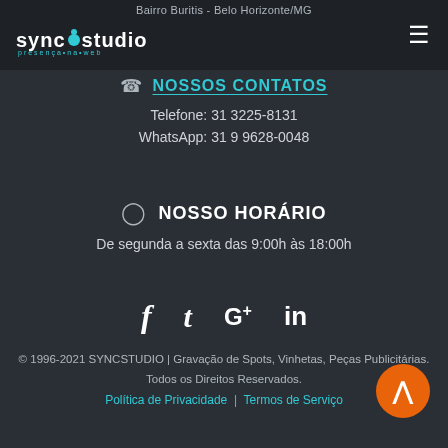Bairro Buritis - Belo Horizonte/MG
[Figure (logo): Sync Studio logo with teal circular dots and brand name]
NOSSOS CONTATOS
Telefone: 31 3225-8131
WhatsApp: 31 9 9628-0048
NOSSO HORÁRIO
De segunda a sexta das 9:00h às 18:00h
[Figure (infographic): Social media icons: f (Facebook), t (Twitter), G+ (Google Plus), in (LinkedIn)]
© 1996-2021 SYNCSTUDIO | Gravação de Spots, Vinhetas, Peças Publicitárias.
Todos os Direitos Reservados.
Política de Privacidade | Termos de Serviço